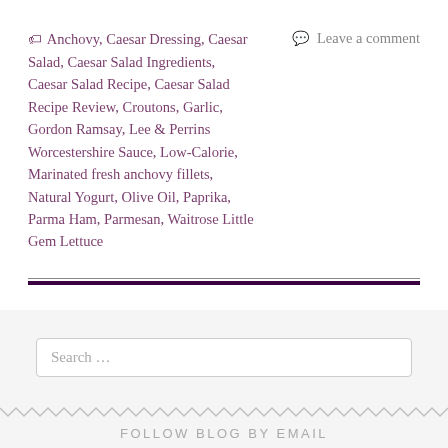🏷 Anchovy, Caesar Dressing, Caesar Salad, Caesar Salad Ingredients, Caesar Salad Recipe, Caesar Salad Recipe Review, Croutons, Garlic, Gordon Ramsay, Lee & Perrins Worcestershire Sauce, Low-Calorie, Marinated fresh anchovy fillets, Natural Yogurt, Olive Oil, Paprika, Parma Ham, Parmesan, Waitrose Little Gem Lettuce
💬 Leave a comment
Search ...
FOLLOW BLOG BY EMAIL